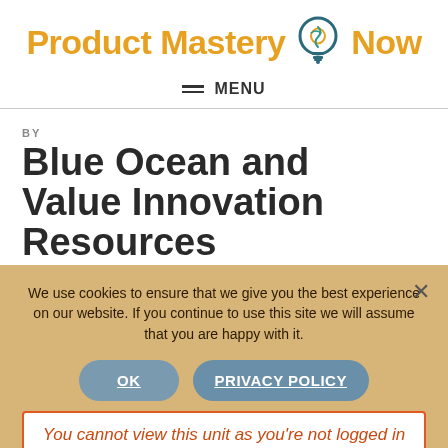Product Mastery Now — MENU
BY
Blue Ocean and Value Innovation Resources
We use cookies to ensure that we give you the best experience on our website. If you continue to use this site we will assume that you are happy with it.
OK   PRIVACY POLICY
You cannot view this unit as you're not logged in yet.